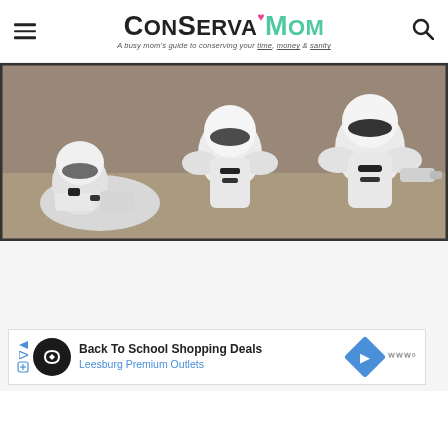ConservaMom — A busy mom's guide to conserving your time, money & sanity
[Figure (photo): Star Wars Stormtrooper costumes / characters lying on a sandy surface, a movie or show still]
[Figure (infographic): Advertisement banner: Back To School Shopping Deals — Leesburg Premium Outlets]